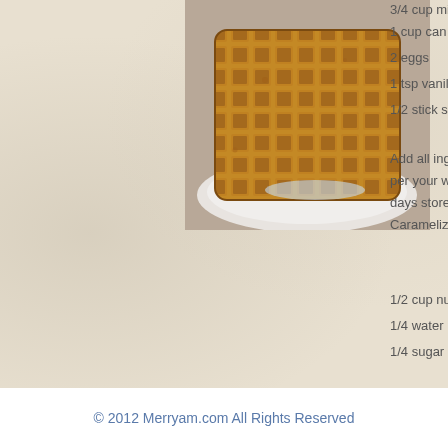[Figure (photo): Close-up photo of a golden-brown waffle on a white plate]
3/4 cup mi...
1 cup can
2 eggs
1 tsp vanil
1/2 stick sa
Add all ing... per your w... days store... Carameliz...
1/2 cup nu
1/4 water
1/4 sugar
Add all ing... and sugar
© 2012 Merryam.com All Rights Reserved